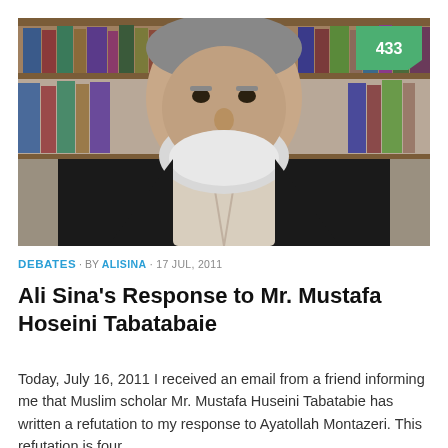[Figure (photo): Portrait photo of an elderly man with a white beard wearing a dark suit jacket, seated in front of bookshelves. A green badge with '433' appears in the top-right corner of the image.]
DEBATES · BY ALISINA · 17 JUL, 2011
Ali Sina's Response to Mr. Mustafa Hoseini Tabatabaie
Today, July 16, 2011 I received an email from a friend informing me that Muslim scholar Mr. Mustafa Huseini Tabatabie has written a refutation to my response to Ayatollah Montazeri. This refutation is four